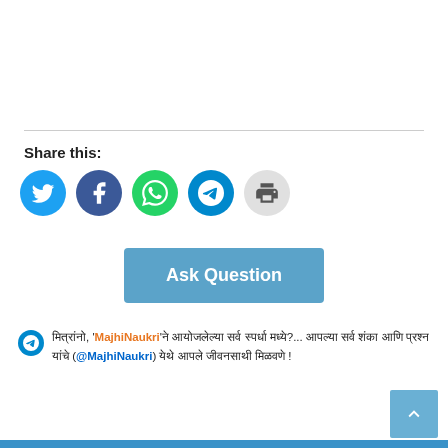Share this:
[Figure (infographic): Social share icons: Twitter (blue), Facebook (dark blue), WhatsApp (green), Telegram (blue), Print (grey)]
Ask Question
मित्रांनो, 'MajhiNaukri'ने आयोजलेल्या सर्व स्पर्धा मध्ये?... आपल्या सर्व शंका आणि प्रश्न यांचे (@MajhiNaukri) येथे आपले जीवनसाथी मिळवणे !